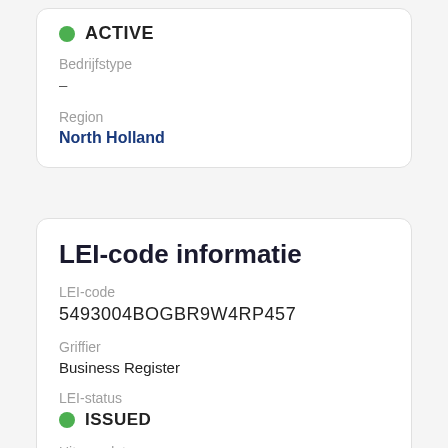ACTIVE
Bedrijfstype
-
Region
North Holland
LEI-code informatie
LEI-code
5493004BOGBR9W4RP457
Griffier
Business Register
LEI-status
ISSUED
Uitgavedatum